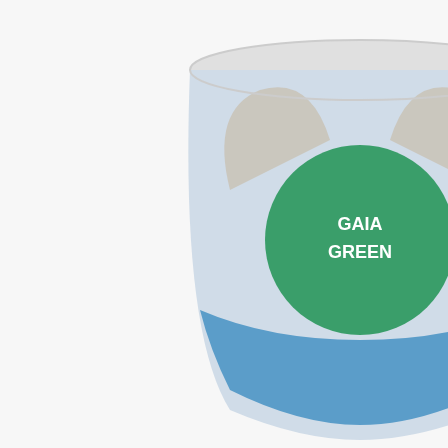[Figure (photo): Product photo of Gaia Green Diatomaceous Earth 750g container - white bucket with blue and green label showing hands and soil]
[Figure (screenshot): Language selector dropdown showing 'English' with light green background]
[Figure (photo): Photo of Oasis Rootcubes in black tray with green seedlings partially visible]
GAIA GREEN ORGANICS
Gaia Green Diatomaceous Earth 750g
$19.95 CAD
In stock
OASIS
Oasis Rootcubes Wo... 5615
$121.50 CAD
In stock